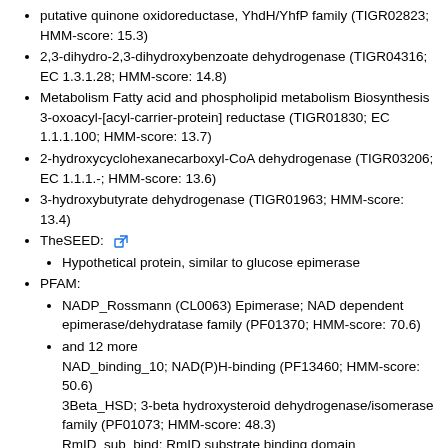putative quinone oxidoreductase, YhdH/YhfP family (TIGR02823; HMM-score: 15.3)
2,3-dihydro-2,3-dihydroxybenzoate dehydrogenase (TIGR04316; EC 1.3.1.28; HMM-score: 14.8)
Metabolism Fatty acid and phospholipid metabolism Biosynthesis 3-oxoacyl-[acyl-carrier-protein] reductase (TIGR01830; EC 1.1.1.100; HMM-score: 13.7)
2-hydroxycyclohexanecarboxyl-CoA dehydrogenase (TIGR03206; EC 1.1.1.-; HMM-score: 13.6)
3-hydroxybutyrate dehydrogenase (TIGR01963; HMM-score: 13.4)
TheSEED: [external link]
Hypothetical protein, similar to glucose epimerase
PFAM:
NADP_Rossmann (CL0063) Epimerase; NAD dependent epimerase/dehydratase family (PF01370; HMM-score: 70.6)
and 12 more NAD_binding_10; NAD(P)H-binding (PF13460; HMM-score: 50.6) 3Beta_HSD; 3-beta hydroxysteroid dehydrogenase/isomerase family (PF01073; HMM-score: 48.3)
RmID_sub_bind; RmID substrate binding domain